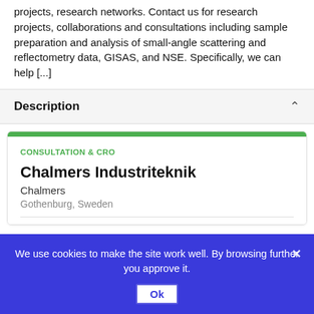projects, research networks. Contact us for research projects, collaborations and consultations including sample preparation and analysis of small-angle scattering and reflectometry data, GISAS, and NSE. Specifically, we can help [...]
Description
CONSULTATION & CRO
Chalmers Industriteknik
Chalmers
Gothenburg, Sweden
We use cookies to make the site work well. By browsing further you approve it.